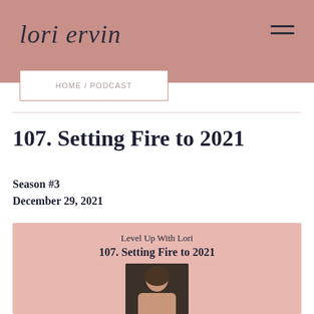lori ervin
107. Setting Fire to 2021
Season #3
December 29, 2021
[Figure (illustration): Podcast card with pink background showing 'Level Up With Lori' and '107. Setting Fire to 2021' with a photo of a woman below]